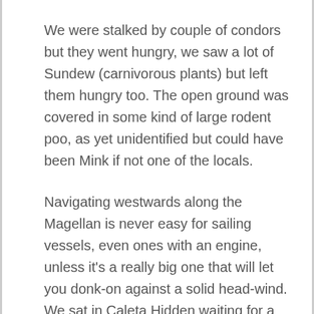We were stalked by couple of condors but they went hungry, we saw a lot of Sundew (carnivorous plants) but left them hungry too. The open ground was covered in some kind of large rodent poo, as yet unidentified but could have been Mink if not one of the locals.
Navigating westwards along the Magellan is never easy for sailing vessels, even ones with an engine, unless it's a really big one that will let you donk-on against a solid head-wind. We sat in Caleta Hidden waiting for a quieter day and made a dash for it on Friday the 13th, silly I know but sometimes you just have to! We actually had quite a straight forward upwind sail, and motor sail, against 20 knots or so at the start with a few puffs to 30 and then dropping off to around 10 knots at the end. Of course it doesn't just stop with the wind; the current has to be dealt with too. We had a fair view of Cabo Froward